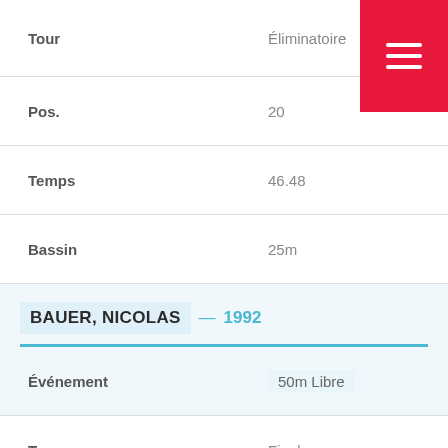| Tour | Éliminatoire |
| Pos. | 20 |
| Temps | 46.48 |
| Bassin | 25m |
BAUER, NICOLAS — 1992
| Événement | 50m Libre |
| Tour | Finale |
| Pos. | 5 |